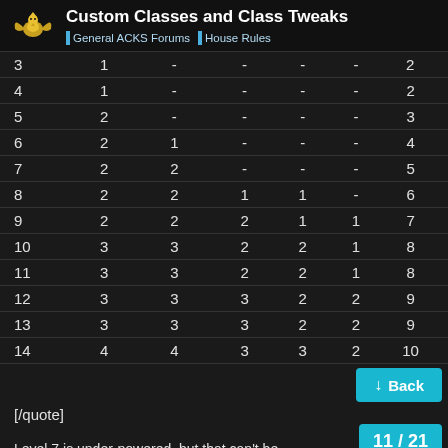Custom Classes and Class Tweaks | General ACKS Forums | House Rules
|  |  |  |  |  |  |  |
| --- | --- | --- | --- | --- | --- | --- |
| 3 | 1 | - | - | - | - | 2 |
| 4 | 1 | - | - | - | - | 2 |
| 5 | 2 | - | - | - | - | 3 |
| 6 | 2 | 1 | - | - | - | 4 |
| 7 | 2 | 2 | - | - | - | 5 |
| 8 | 2 | 2 | 1 | 1 | - | 6 |
| 9 | 2 | 2 | 2 | 1 | 1 | 7 |
| 10 | 3 | 3 | 2 | 2 | 1 | 8 |
| 11 | 3 | 3 | 2 | 2 | 1 | 8 |
| 12 | 3 | 3 | 3 | 2 | 2 | 9 |
| 13 | 3 | 3 | 3 | 2 | 2 | 9 |
| 14 | 4 | 4 | 3 | 3 | 2 | 10 |
[/quote]
Level 7 is under-powered, but that can't be
11 / 21